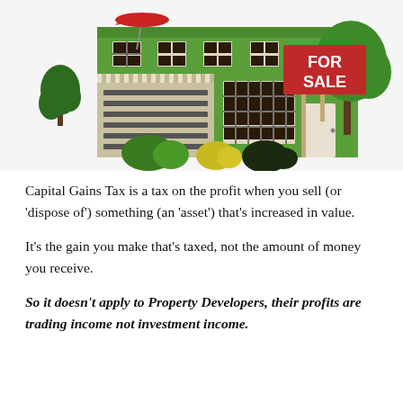[Figure (illustration): Illustration of a green two-story house with a garage, windows, bushes, a tree, a red umbrella, and a red 'FOR SALE' sign on a post.]
Capital Gains Tax is a tax on the profit when you sell (or 'dispose of') something (an 'asset') that's increased in value.
It's the gain you make that's taxed, not the amount of money you receive.
So it doesn't apply to Property Developers, their profits are trading income not investment income.